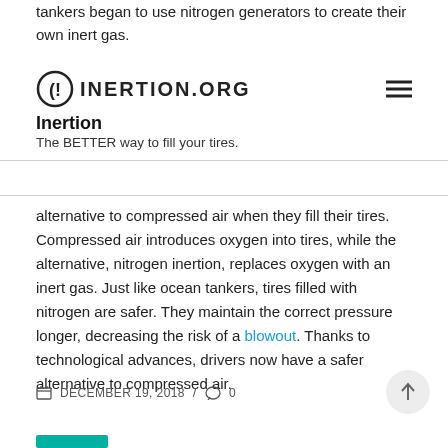tankers began to use nitrogen generators to create their own inert gas.
(!} INERTION.ORG
Inertion
The BETTER way to fill your tires.
alternative to compressed air when they fill their tires. Compressed air introduces oxygen into tires, while the alternative, nitrogen inertion, replaces oxygen with an inert gas. Just like ocean tankers, tires filled with nitrogen are safer. They maintain the correct pressure longer, decreasing the risk of a blowout. Thanks to technological advances, drivers now have a safer alternative to compressed air.
DECEMBER 19, 2018 / 0